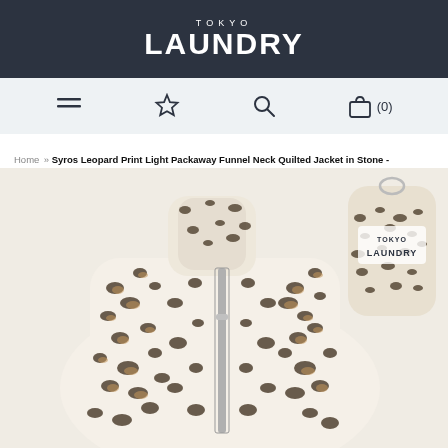[Figure (logo): Tokyo Laundry brand logo — white text on dark navy background. 'TOKYO' in small caps above, 'LAUNDRY' in large bold condensed caps below.]
[Figure (screenshot): Navigation bar with menu (hamburger), star/wishlist, search, and bag icons with (0) item count on light gray background.]
Home » Syros Leopard Print Light Packaway Funnel Neck Quilted Jacket in Stone - Tokyo Laundry
[Figure (photo): Product photo of a leopard print quilted jacket (Syros style) in stone/cream color with high funnel neck and silver center zip, displayed front-on. Behind and to the right is the same fabric packed into a small carry pouch with Tokyo Laundry branding.]